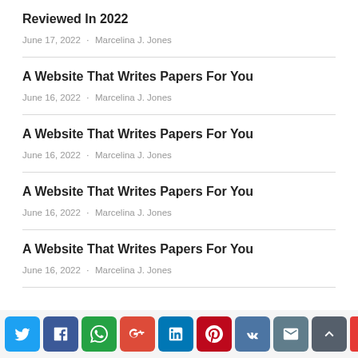Reviewed In 2022
June 17, 2022 · Marcelina J. Jones
A Website That Writes Papers For You
June 16, 2022 · Marcelina J. Jones
A Website That Writes Papers For You
June 16, 2022 · Marcelina J. Jones
A Website That Writes Papers For You
June 16, 2022 · Marcelina J. Jones
A Website That Writes Papers For You
June 16, 2022 · Marcelina J. Jones